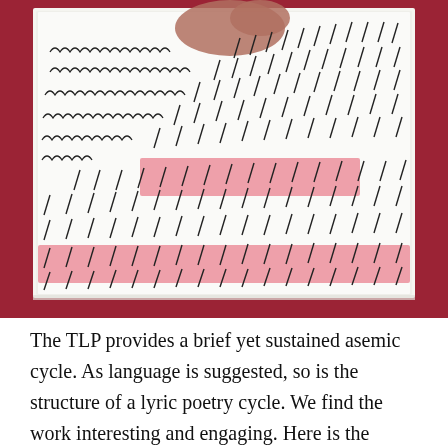[Figure (illustration): A photograph of a sketchbook or notebook page showing asemic writing — rows of cursive-like looping marks in black ink alongside diagonal line strokes, with two horizontal bands of pink/red watercolor or marker wash overlaid. A hand (skin visible, reddish-brown tone) is seen at the top of the page making marks. The notebook is set against a dark red/crimson background.]
The TLP provides a brief yet sustained asemic cycle. As language is suggested, so is the structure of a lyric poetry cycle. We find the work interesting and engaging. Here is the envelope: